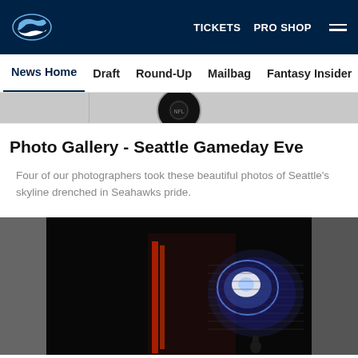[Figure (logo): Seattle Seahawks logo in white on dark navy navigation bar]
TICKETS   PRO SHOP
News Home   Draft   Round-Up   Mailbag   Fantasy Insider   Roster
Photo Gallery - Seattle Gameday Eve
Four of our photographers took these beautiful photos of Seattle's skyline drenched in Seahawks pride.
[Figure (photo): Nighttime photo of a building with the Seattle Seahawks logo projected in blue and white light, with red light accents on the building facade]
[Figure (infographic): Social sharing icons: Facebook, Twitter, Email, and a link/chain icon, each in a light gray circle]